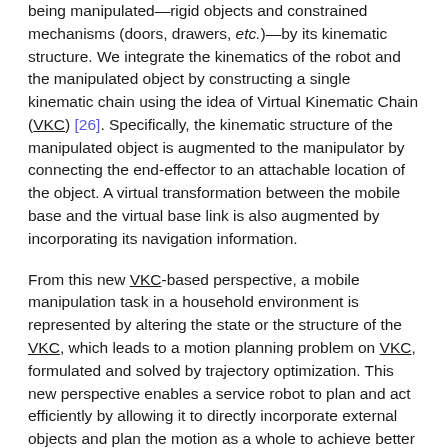being manipulated—rigid objects and constrained mechanisms (doors, drawers, etc.)—by its kinematic structure. We integrate the kinematics of the robot and the manipulated object by constructing a single kinematic chain using the idea of Virtual Kinematic Chain (VKC) [26]. Specifically, the kinematic structure of the manipulated object is augmented to the manipulator by connecting the end-effector to an attachable location of the object. A virtual transformation between the mobile base and the virtual base link is also augmented by incorporating its navigation information.
From this new VKC-based perspective, a mobile manipulation task in a household environment is represented by altering the state or the structure of the VKC, which leads to a motion planning problem on VKC, formulated and solved by trajectory optimization. This new perspective enables a service robot to plan and act efficiently by allowing it to directly incorporate external objects and plan the motion as a whole to achieve better foot-arm coordination; see examples in Fig. 1. In simulations, we validate the proposed VKC perspective in various mobile manipulation tasks. Our experiments show that the consolidated kinematic models are particularly suitable for service robots by alleviating intermediate goal